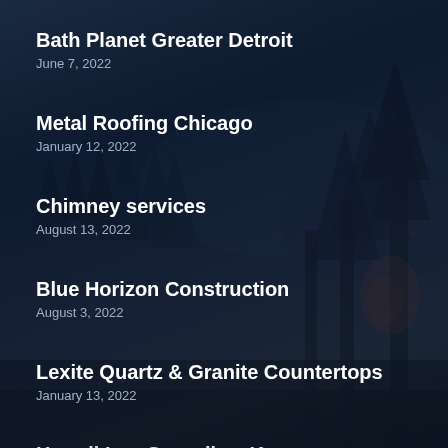Bath Planet Greater Detroit
June 7, 2022
Metal Roofing Chicago
January 12, 2022
Chimney services
August 13, 2022
Blue Horizon Construction
August 3, 2022
Lexite Quartz & Granite Countertops
January 13, 2022
Hawaii... (partially visible)